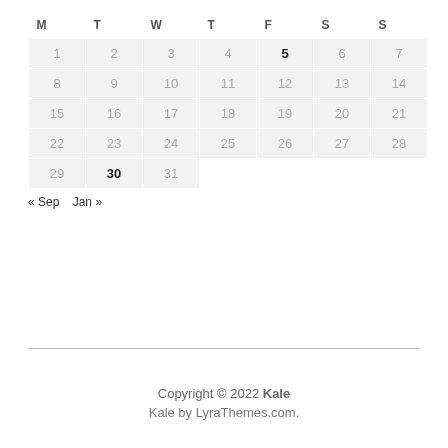| M | T | W | T | F | S | S |
| --- | --- | --- | --- | --- | --- | --- |
| 1 | 2 | 3 | 4 | 5 | 6 | 7 |
| 8 | 9 | 10 | 11 | 12 | 13 | 14 |
| 15 | 16 | 17 | 18 | 19 | 20 | 21 |
| 22 | 23 | 24 | 25 | 26 | 27 | 28 |
| 29 | 30 | 31 |  |  |  |  |
« Sep    Jan »
Copyright © 2022 Kale
Kale by LyraThemes.com.